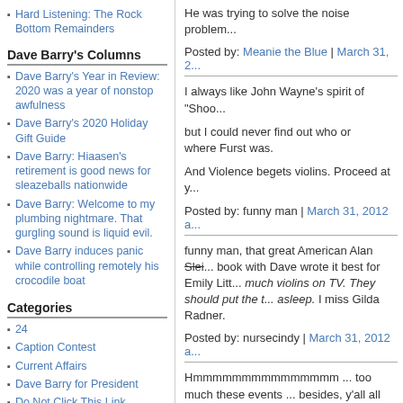Hard Listening: The Rock Bottom Remainders
Dave Barry's Columns
Dave Barry's Year in Review: 2020 was a year of nonstop awfulness
Dave Barry's 2020 Holiday Gift Guide
Dave Barry: Hiaasen's retirement is good news for sleazeballs nationwide
Dave Barry: Welcome to my plumbing nightmare. That gurgling sound is liquid evil.
Dave Barry induces panic while controlling remotely his crocodile boat
Categories
24
Caption Contest
Current Affairs
Dave Barry for President
Do Not Click This Link
He was trying to solve the noise problem...
Posted by: Meanie the Blue | March 31, 2...
I always like John Wayne's spirit of "Shoo...
but I could never find out who or where Furst was.
And Violence begets violins. Proceed at y...
Posted by: funny man | March 31, 2012 a...
funny man, that great American Alan Slei... book with Dave wrote it best for Emily Litt... much violins on TV. They should put the t... asleep. I miss Gilda Radner.
Posted by: nursecindy | March 31, 2012 a...
Hmmmmmmmmmmmmmmm ... too much these events ... besides, y'all all tooken th...
Yeah, n'cin' ... I also miss Gilda ... hers w... world that ... well ... nevermind ...